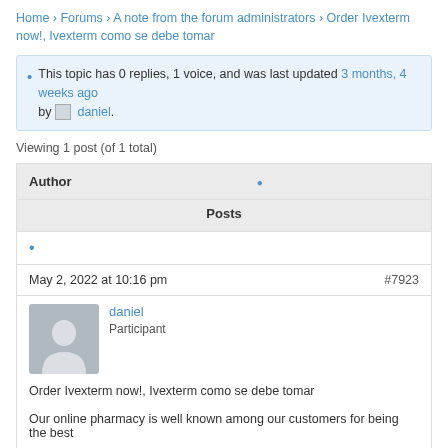Home › Forums › A note from the forum administrators › Order Ivexterm now!, Ivexterm como se debe tomar
This topic has 0 replies, 1 voice, and was last updated 3 months, 4 weeks ago by daniel.
Viewing 1 post (of 1 total)
| Author |  | Posts |
| --- | --- | --- |
| • |  |  |
| May 2, 2022 at 10:16 pm | #7923 |  |
| daniel
Participant |  |  |
| Order Ivexterm now!, Ivexterm como se debe tomar

Our online pharmacy is well known among our customers for being the best |  |  |
Order Ivexterm now!, Ivexterm como se debe tomar
Our online pharmacy is well known among our customers for being the best